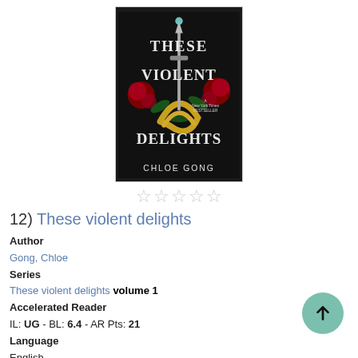[Figure (illustration): Book cover of 'These Violent Delights' by Chloe Gong. Dark background with stylized text, roses, snakes, and a dagger. Labeled as a New York Times Bestseller.]
☆☆☆☆☆
12) These violent delights
Author
Gong, Chloe
Series
These violent delights volume 1
Accelerated Reader
IL: UG - BL: 6.4 - AR Pts: 21
Language
English
Appears on these lists
AANHPI Heritage Month for Teens
Dark Academia